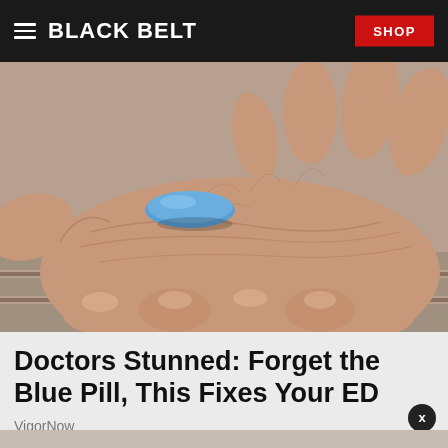BLACK BELT
[Figure (photo): Close-up photograph of an open human hand palm-up holding a small blue pill, resting on what appears to be wooden slats in the background.]
Doctors Stunned: Forget the Blue Pill, This Fixes Your ED
VigorNow